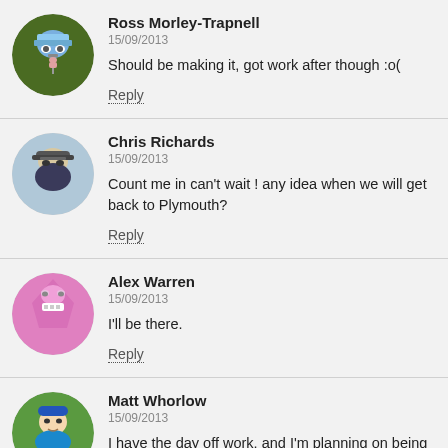Ross Morley-Trapnell
15/09/2013
Should be making it, got work after though :o(
Reply
Chris Richards
15/09/2013
Count me in can't wait ! any idea when we will get back to Plymouth?
Reply
Alex Warren
15/09/2013
I'll be there.
Reply
Matt Whorlow
15/09/2013
I have the day off work, and I'm planning on being there